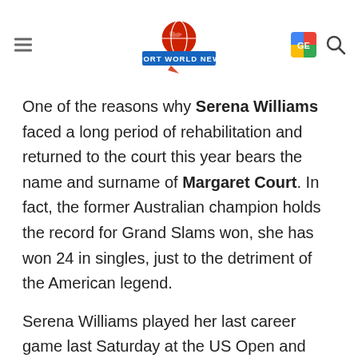SPORT WORLD NEWS
One of the reasons why Serena Williams faced a long period of rehabilitation and returned to the court this year bears the name and surname of Margaret Court. In fact, the former Australian champion holds the record for Grand Slams won, she has won 24 in singles, just to the detriment of the American legend.
Serena Williams played her last career game last Saturday at the US Open and has always chased Margaret Court in this special ranking. The American never hid her ambitions of hers, but she had to deal with history and pressure.